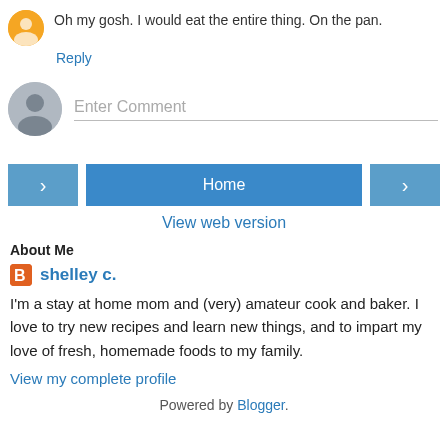Oh my gosh. I would eat the entire thing. On the pan.
Reply
Enter Comment
Home
View web version
About Me
shelley c.
I'm a stay at home mom and (very) amateur cook and baker. I love to try new recipes and learn new things, and to impart my love of fresh, homemade foods to my family.
View my complete profile
Powered by Blogger.